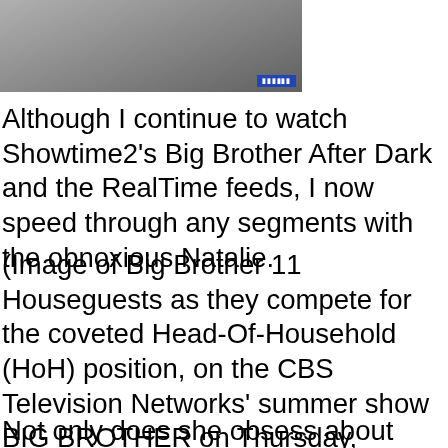[Figure (photo): Photo of Big Brother 11 Houseguests competing for the Head-Of-Household position, showing a person near a podium outdoors.]
Although I continue to watch Showtime2's Big Brother After Dark and the RealTime feeds, I now speed through any segments with the obnoxious Natalie.
(Image of Big Brother 11 Houseguests as they compete for the coveted Head-Of-Household (HoH) position, on the CBS Television Networks' summer show BIG BROTHER on Thursday, August 27, 2009. Pictured: Natalie - Photo: Sonja Flemming/CBS. - © 2009 CBS Broadcasting Inc., All Rights Reserved)
Not only does she obsess about how great she is (has anyone noticed that